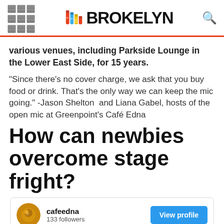BROKELYN
various venues, including Parkside Lounge in the Lower East Side, for 15 years.
“Since there’s no cover charge, we ask that you buy food or drink. That’s the only way we can keep the mic going.” -Jason Shelton  and Liana Gabel, hosts of the open mic at Greenpoint’s Café Edna
How can newbies overcome stage fright?
[Figure (screenshot): Instagram profile card for cafeedna showing avatar, 133 followers, and a View profile button]